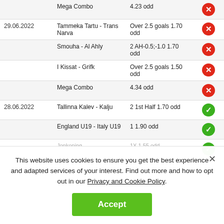| Date | Match | Tip | Result |
| --- | --- | --- | --- |
|  | Mega Combo | 4.23 odd | ❌ |
| 29.06.2022 | Tammeka Tartu - Trans Narva | Over 2.5 goals 1.70 odd | ❌ |
|  | Smouha - Al Ahly | 2 AH-0.5;-1.0 1.70 odd | ❌ |
|  | I Kissat - Grifk | Over 2.5 goals 1.50 odd | ❌ |
|  | Mega Combo | 4.34 odd | ❌ |
| 28.06.2022 | Tallinna Kalev - Kalju | 2 1st Half 1.70 odd | ✅ |
|  | England U19 - Italy U19 | 1 1.90 odd | ✅ |
|  | Jonkoping... | 1X 1.55 odd | ✅ |
This website uses cookies to ensure you get the best experience and adapted services of your interest. Find out more and how to opt out in our Privacy and Cookie Policy.